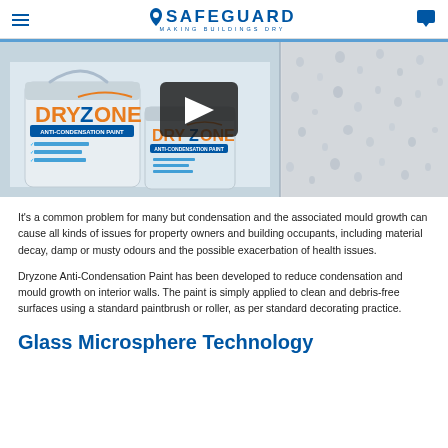SAFEGUARD MAKING BUILDINGS DRY
[Figure (photo): Product image showing Dryzone Anti-Condensation Paint buckets and tins with a video play button overlay, alongside a photo of water condensation droplets on a wall surface.]
It’s a common problem for many but condensation and the associated mould growth can cause all kinds of issues for property owners and building occupants, including material decay, damp or musty odours and the possible exacerbation of health issues.
Dryzone Anti-Condensation Paint has been developed to reduce condensation and mould growth on interior walls. The paint is simply applied to clean and debris-free surfaces using a standard paintbrush or roller, as per standard decorating practice.
Glass Microsphere Technology